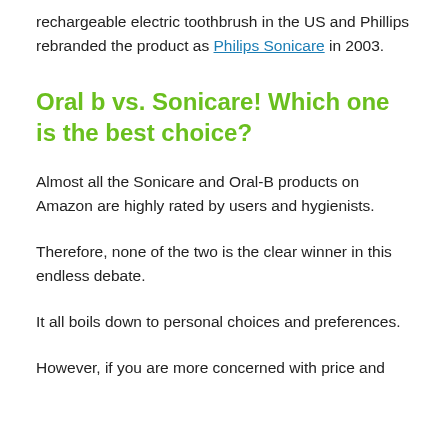rechargeable electric toothbrush in the US and Phillips rebranded the product as Philips Sonicare in 2003.
Oral b vs. Sonicare! Which one is the best choice?
Almost all the Sonicare and Oral-B products on Amazon are highly rated by users and hygienists.
Therefore, none of the two is the clear winner in this endless debate.
It all boils down to personal choices and preferences.
However, if you are more concerned with price and